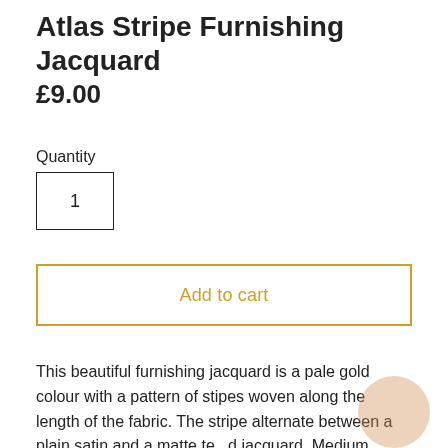Atlas Stripe Furnishing Jacquard
£9.00
Quantity
1
Add to cart
This beautiful furnishing jacquard is a pale gold colour with a pattern of stipes woven along the length of the fabric. The stripe alternate between a plain satin and a matte te d jacquard. Medium weight with a great drape. Perfe cushions or blinds but could also be used for dressmaking projects or even bags!  Deadstock, sourced from a high-end